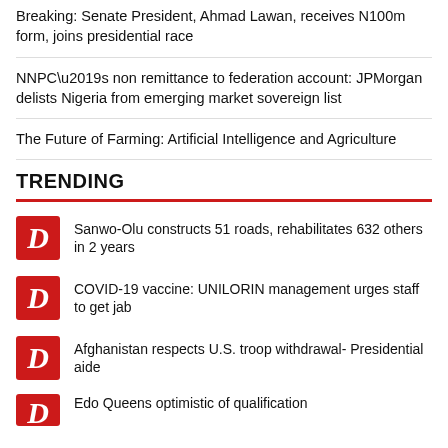Breaking: Senate President, Ahmad Lawan, receives N100m form, joins presidential race
NNPC’s non remittance to federation account: JPMorgan delists Nigeria from emerging market sovereign list
The Future of Farming: Artificial Intelligence and Agriculture
TRENDING
Sanwo-Olu constructs 51 roads, rehabilitates 632 others in 2 years
COVID-19 vaccine: UNILORIN management urges staff to get jab
Afghanistan respects U.S. troop withdrawal- Presidential aide
Edo Queens optimistic of qualification